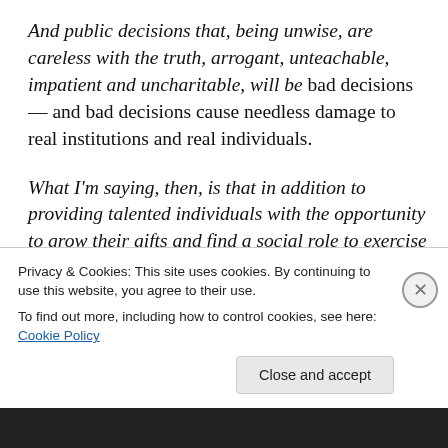And public decisions that, being unwise, are careless with the truth, arrogant, unteachable, impatient and uncharitable, will be bad decisions — and bad decisions cause needless damage to real institutions and real individuals.
What I'm saying, then, is that in addition to providing talented individuals with the opportunity to grow their gifts and find a social role to exercise them; in addition to producing qualified applicants for positions in legal practice and in public administration; in addition to training
Privacy & Cookies: This site uses cookies. By continuing to use this website, you agree to their use.
To find out more, including how to control cookies, see here: Cookie Policy
Close and accept